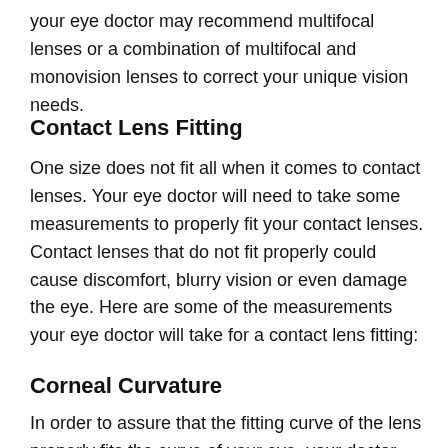your eye doctor may recommend multifocal lenses or a combination of multifocal and monovision lenses to correct your unique vision needs.
Contact Lens Fitting
One size does not fit all when it comes to contact lenses. Your eye doctor will need to take some measurements to properly fit your contact lenses. Contact lenses that do not fit properly could cause discomfort, blurry vision or even damage the eye. Here are some of the measurements your eye doctor will take for a contact lens fitting:
Corneal Curvature
In order to assure that the fitting curve of the lens properly fits the curve of your eye, your doctor will